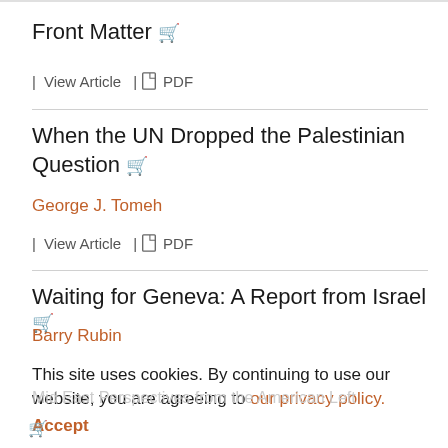Front Matter
| View Article  |  PDF
When the UN Dropped the Palestinian Question
George J. Tomeh
| View Article  |  PDF
Waiting for Geneva: A Report from Israel
Barry Rubin
| View Article  |  PDF
This site uses cookies. By continuing to use our website, you are agreeing to our privacy policy. Accept
Mid East Perspectives from the American Left